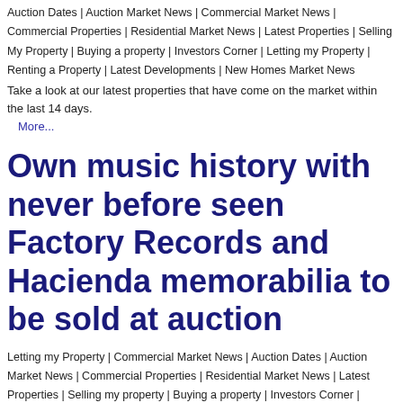Auction Dates | Auction Market News | Commercial Market News | Commercial Properties | Residential Market News | Latest Properties | Selling My Property | Buying a property | Investors Corner | Letting my Property | Renting a Property | Latest Developments | New Homes Market News
Take a look at our latest properties that have come on the market within the last 14 days.
More...
Own music history with never before seen Factory Records and Hacienda memorabilia to be sold at auction
Letting my Property | Commercial Market News | Auction Dates | Auction Market News | Commercial Properties | Residential Market News | Latest Properties | Selling my property | Buying a property | Investors Corner | Renting a Property | Financial Services Market News | Latest Developments | New Homes Market News | News about us & our community | Auction Dates | Auction Market News | Commercial Market News | Commercial Properties |